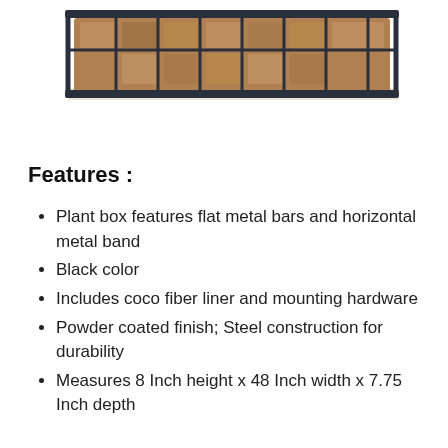[Figure (photo): A rectangular black metal wire plant box/window planter with a coco fiber liner insert, viewed from a slightly elevated angle. The metal frame has a grid pattern with flat bars and horizontal bands.]
Features :
Plant box features flat metal bars and horizontal metal band
Black color
Includes coco fiber liner and mounting hardware
Powder coated finish; Steel construction for durability
Measures 8 Inch height x 48 Inch width x 7.75 Inch depth